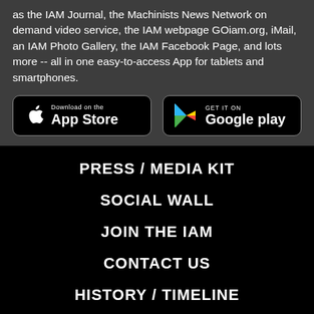as the IAM Journal, the Machinists News Network on demand video service, the IAM webpage GOiam.org, iMail, an IAM Photo Gallery, the IAM Facebook Page, and lots more -- all in one easy-to-access App for tablets and smartphones.
[Figure (other): Download on the App Store button (black rounded rectangle with Apple logo)]
[Figure (other): Get it on Google Play button (black rounded rectangle with Google Play triangle logo)]
PRESS / MEDIA KIT
SOCIAL WALL
JOIN THE IAM
CONTACT US
HISTORY / TIMELINE